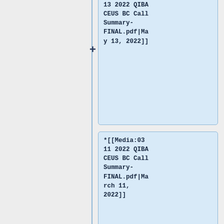*[[Media:05 13 2022 QIBA CEUS BC Call Summary-FINAL.pdf|May 13, 2022]]
*[[Media:03 11 2022 QIBA CEUS BC Call Summary-FINAL.pdf|March 11, 2022]]
*[[Media:02 11 2022 QIBA CEUS BC Call Summary-FINAL.pdf|February 11, 2022]]
*[[Media:02 11 2022 QIBA CEUS BC Call Summary-FINAL.pdf|February 11, 2022]]
*[[Media:01
*[[Media:01